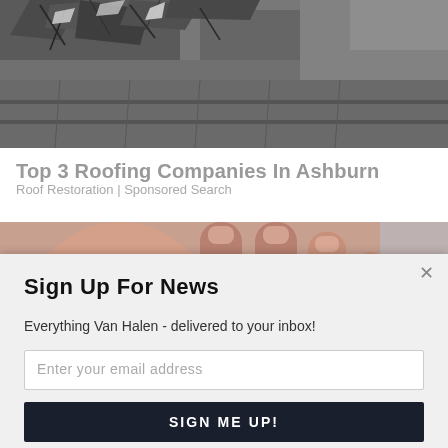[Figure (photo): Damaged roofing shingles, cracked and peeling, dark gray/charcoal colored]
Top 3 Roofing Companies In Ashburn
Roof Restoration | Sponsored Search
[Figure (photo): Close-up photo of an elderly person's hands, blurred background, with a 'Powered by Sumo' badge overlay]
Sign Up For News
Everything Van Halen - delivered to your inbox!
Enter your email address
SIGN ME UP!